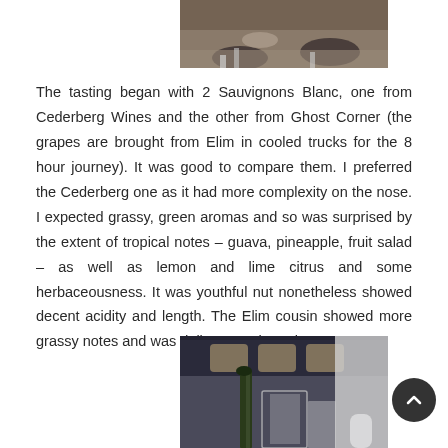[Figure (photo): Partial photo at top showing wine glasses on gravel/ground, cropped at top]
The tasting began with 2 Sauvignons Blanc, one from Cederberg Wines and the other from Ghost Corner (the grapes are brought from Elim in cooled trucks for the 8 hour journey). It was good to compare them. I preferred the Cederberg one as it had more complexity on the nose. I expected grassy, green aromas and so was surprised by the extent of tropical notes – guava, pineapple, fruit salad – as well as lemon and lime citrus and some herbaceousness. It was youthful nut nonetheless showed decent acidity and length. The Elim cousin showed more grassy notes and was delicate on the palate.
[Figure (photo): Photo of wine bottles and glasses on a table with wine barrels in the background]